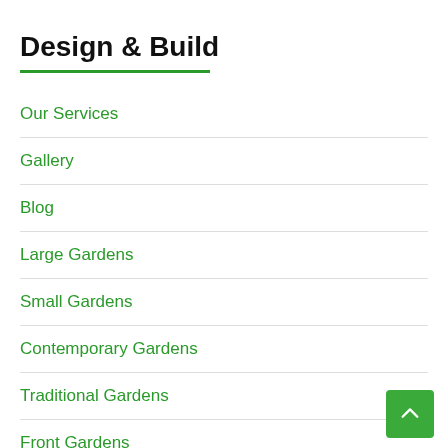Design & Build
Our Services
Gallery
Blog
Large Gardens
Small Gardens
Contemporary Gardens
Traditional Gardens
Front Gardens
Sloping and Terraced Gardens
Planting